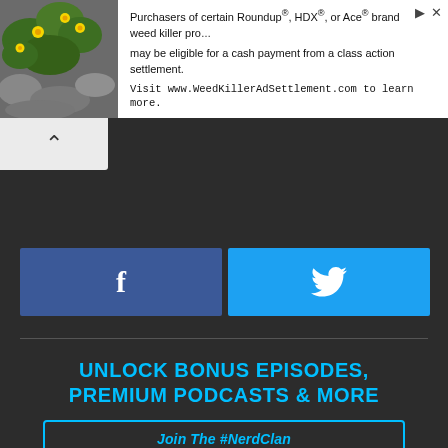[Figure (illustration): Advertisement banner with nature photo (green plant with yellow flowers on stones) and text about Roundup, HDX, Ace brand weed killer class action settlement.]
Purchasers of certain Roundup®, HDX®, or Ace® brand weed killer products may be eligible for a cash payment from a class action settlement. Visit www.WeedKillerAdSettlement.com to learn more.
[Figure (other): White chevron/caret up arrow button on light grey background (back/collapse navigation button)]
[Figure (other): Facebook share button (blue rectangle with white 'f' icon)]
[Figure (other): Twitter share button (cyan rectangle with white bird icon)]
UNLOCK BONUS EPISODES, PREMIUM PODCASTS & MORE
Join The #NerdClan
Today we're discussing the season 2 premiere of The